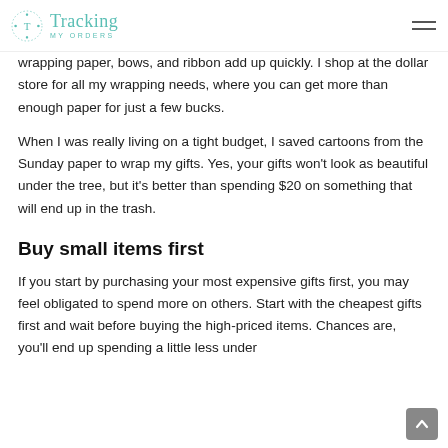Tracking My Orders
wrapping paper, bows, and ribbon add up quickly. I shop at the dollar store for all my wrapping needs, where you can get more than enough paper for just a few bucks.
When I was really living on a tight budget, I saved cartoons from the Sunday paper to wrap my gifts. Yes, your gifts won't look as beautiful under the tree, but it's better than spending $20 on something that will end up in the trash.
Buy small items first
If you start by purchasing your most expensive gifts first, you may feel obligated to spend more on others. Start with the cheapest gifts first and wait before buying the high-priced items. Chances are, you'll end up spending a little less under